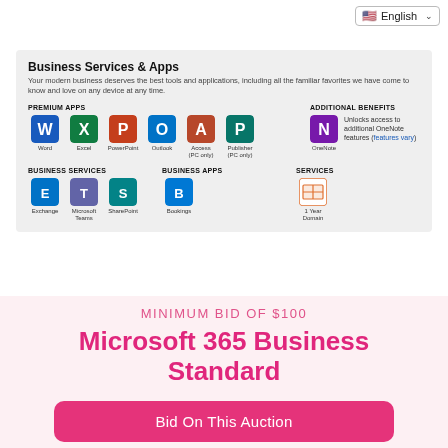English
[Figure (screenshot): Business Services & Apps section showing Microsoft 365 app icons including Word, Excel, PowerPoint, Outlook, Access (PC only), Publisher (PC only), OneNote (Additional Benefits), Exchange, Microsoft Teams, SharePoint (Business Services), Bookings (Business Apps), 1 Year Domain (Services)]
MINIMUM BID OF $100
Microsoft 365 Business Standard
Bid On This Auction